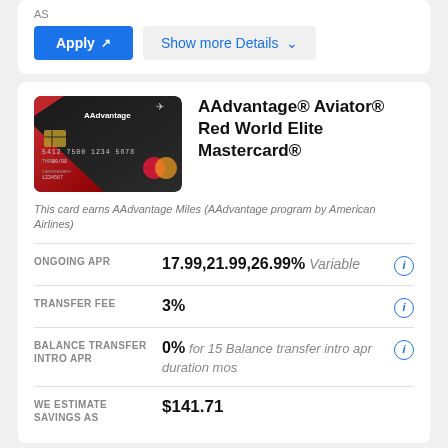AS
Apply  Show more Details
AAdvantage® Aviator® Red World Elite Mastercard®
This card earns AAdvantage Miles (AAdvantage program by American Airlines)
|  |  |
| --- | --- |
| ONGOING APR | 17.99,21.99,26.99% Variable |
| TRANSFER FEE | 3% |
| BALANCE TRANSFER INTRO APR | 0% for 15 Balance transfer intro apr duration mos |
| WE ESTIMATE SAVINGS AS | $141.71 |